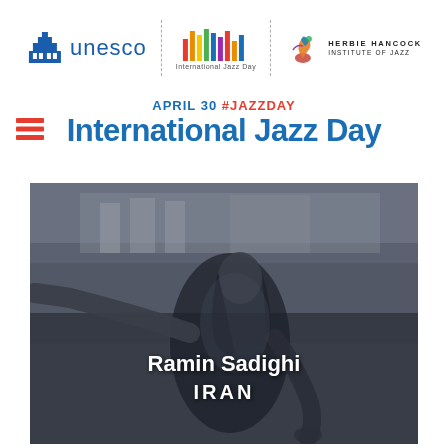[Figure (logo): UNESCO logo, International Jazz Day logo, and Herbie Hancock Institute of Jazz logo arranged horizontally with dashed dividers]
APRIL 30 #JAZZDAY International Jazz Day
[Figure (photo): Black and white photograph of Ramin Sadighi from Iran, a musician with long hair, arms outstretched, playing violin, with text overlay showing name and country]